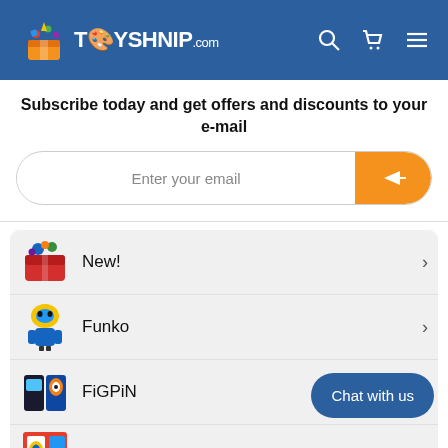TOYSHNIP.com
Subscribe today and get offers and discounts to your e-mail
Enter your email
New!
Funko
FiGPiN
Marvel Legends
McFarlane Toys